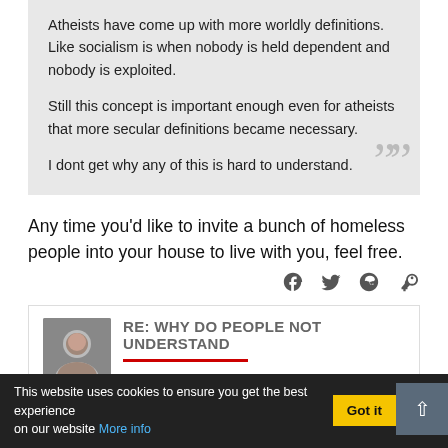Atheists have come up with more worldly definitions. Like socialism is when nobody is held dependent and nobody is exploited.

Still this concept is important enough even for atheists that more secular definitions became necessary.

I dont get why any of this is hard to understand.
Any time you'd like to invite a bunch of homeless people into your house to live with you, feel free.
[Figure (other): Social sharing icons: Facebook, Twitter, Reddit, WhatsApp]
[Figure (photo): Small avatar/profile photo of a person]
RE: WHY DO PEOPLE NOT UNDERSTAND
This website uses cookies to ensure you get the best experience on our website More info